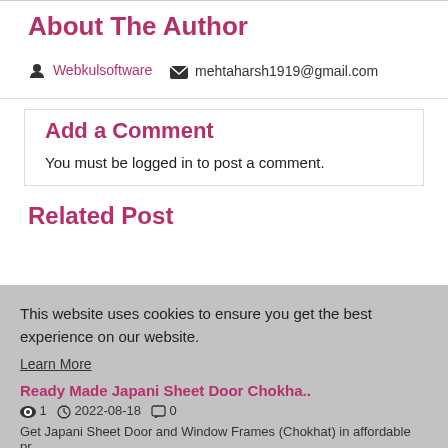About The Author
Webkulsoftware   mehtaharsh1919@gmail.com
Add a Comment
You must be logged in to post a comment.
Related Post
This website uses cookies to ensure you get the best experience on our website.
Learn More
Ready Made Japani Sheet Door Chokha..
1   2022-08-18   0
Get Japani Sheet Door and Window Frames (Chokhat) in affordable pr...
Got it!
Organic Waste Management | YesFullC..